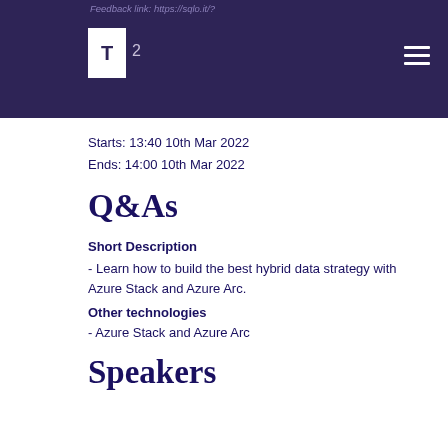Feedback link: https://sqlo.it/?...
Starts: 13:40 10th Mar 2022
Ends: 14:00 10th Mar 2022
Q&As
Short Description
- Learn how to build the best hybrid data strategy with Azure Stack and Azure Arc.
Other technologies
- Azure Stack and Azure Arc
Speakers